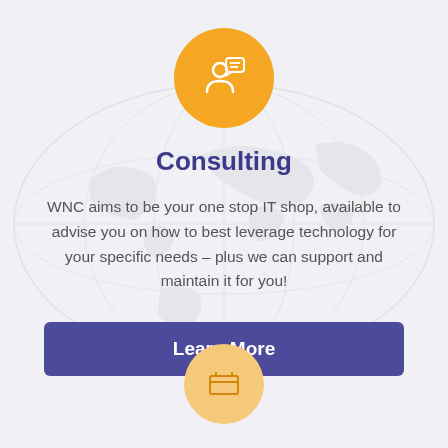[Figure (illustration): Orange circle with white consulting/chat icon showing a person with a speech bubble]
Consulting
WNC aims to be your one stop IT shop, available to advise you on how to best leverage technology for your specific needs – plus we can support and maintain it for you!
[Figure (illustration): Purple/blue rectangle button labeled Learn More]
[Figure (illustration): Partial orange/yellow circle at bottom with a white icon, partially cropped]